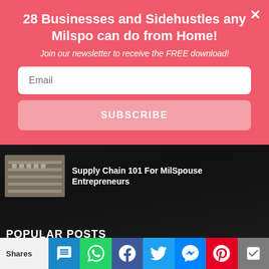28 Businesses and Sidehustles any Milspo can do from Home!
Join our newsletter to receive the FREE download!
Supply Chain 101 For MilSpouse Entrepreneurs
POPULAR POSTS
Give Up The Guilt Of Rehoming Your Pet
Shares | SMS | WhatsApp | Facebook | Twitter | Messenger | Pinterest | More